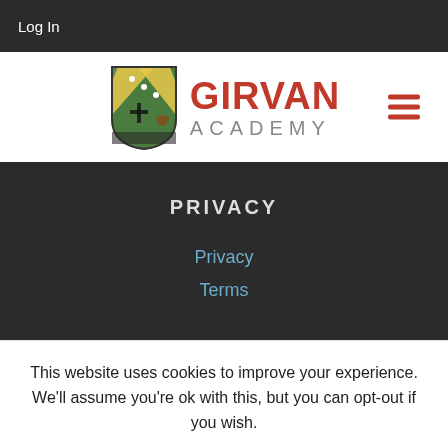Log In
[Figure (logo): Girvan Academy school crest/shield logo with green and yellow diagonal stripes, cross, and ship, alongside the text GIRVAN ACADEMY in red and grey]
PRIVACY
Privacy
Terms
This website uses cookies to improve your experience. We'll assume you're ok with this, but you can opt-out if you wish.
Accept   Read More